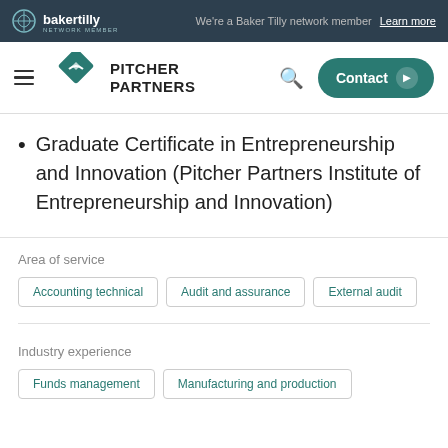bakertilly — We're a Baker Tilly network member Learn more
[Figure (logo): Pitcher Partners logo with diamond icon and company name]
Graduate Certificate in Entrepreneurship and Innovation (Pitcher Partners Institute of Entrepreneurship and Innovation)
Area of service
Accounting technical
Audit and assurance
External audit
Industry experience
Funds management
Manufacturing and production